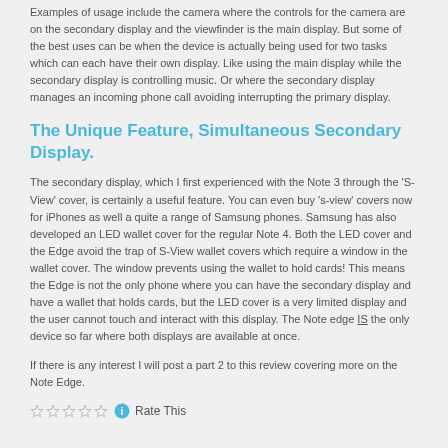Examples of usage include the camera where the controls for the camera are on the secondary display and the viewfinder is the main display. But some of the best uses can be when the device is actually being used for two tasks which can each have their own display. Like using the main display while the secondary display is controlling music. Or where the secondary display manages an incoming phone call avoiding interrupting the primary display.
The Unique Feature, Simultaneous Secondary Display.
The secondary display, which I first experienced with the Note 3 through the 'S-View' cover, is certainly a useful feature. You can even buy 's-view' covers now for iPhones as well a quite a range of Samsung phones. Samsung has also developed an LED wallet cover for the regular Note 4. Both the LED cover and the Edge avoid the trap of S-View wallet covers which require a window in the wallet cover. The window prevents using the wallet to hold cards! This means the Edge is not the only phone where you can have the secondary display and have a wallet that holds cards, but the LED cover is a very limited display and the user cannot touch and interact with this display. The Note edge IS the only device so far where both displays are available at once.
If there is any interest I will post a part 2 to this review covering more on the Note Edge.
Rate This